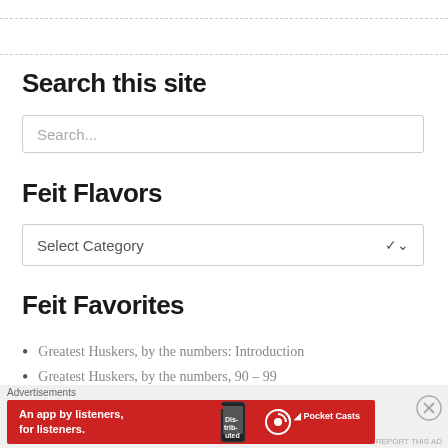Search this site
Search...
Feit Flavors
Select Category
Feit Favorites
Greatest Huskers, by the numbers: Introduction
Greatest Huskers, by the numbers, 90 - 99
Advertisements
[Figure (other): Red advertisement banner for Pocket Casts app: 'An app by listeners, for listeners.']